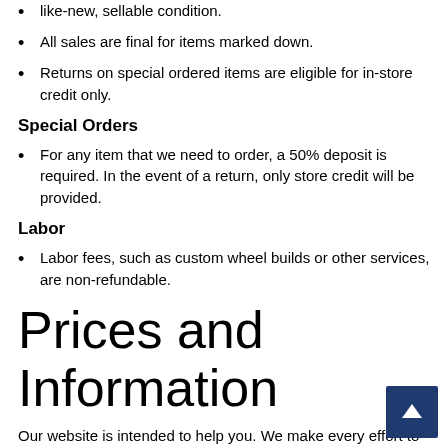like-new, sellable condition.
All sales are final for items marked down.
Returns on special ordered items are eligible for in-store credit only.
Special Orders
For any item that we need to order, a 50% deposit is required. In the event of a return, only store credit will be provided.
Labor
Labor fees, such as custom wheel builds or other services, are non-refundable.
Prices and Information
Our website is intended to help you. We make every effort to maintain current, accurate prices in our online ca... And we strive for similar accuracy and timeliness with the other information we offer here. However, inventory or